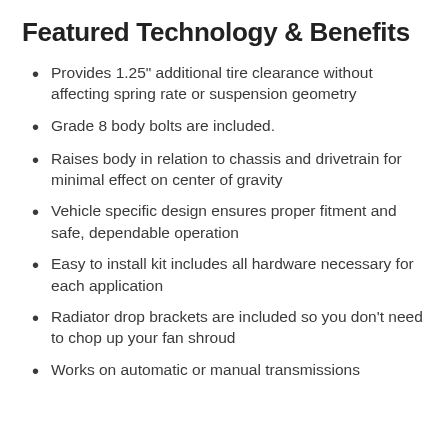Featured Technology & Benefits
Provides 1.25" additional tire clearance without affecting spring rate or suspension geometry
Grade 8 body bolts are included.
Raises body in relation to chassis and drivetrain for minimal effect on center of gravity
Vehicle specific design ensures proper fitment and safe, dependable operation
Easy to install kit includes all hardware necessary for each application
Radiator drop brackets are included so you don't need to chop up your fan shroud
Works on automatic or manual transmissions